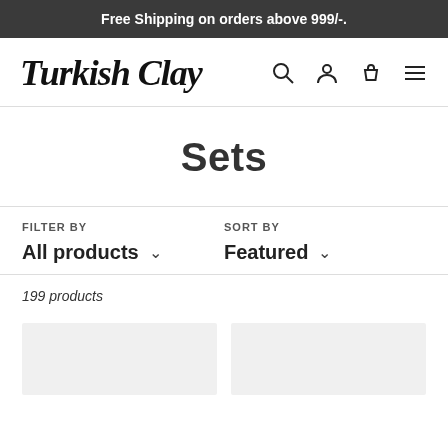Free Shipping on orders above 999/-.
[Figure (logo): Turkish Clay brand logo with search, account, cart, and menu icons]
Sets
FILTER BY
All products
SORT BY
Featured
199 products